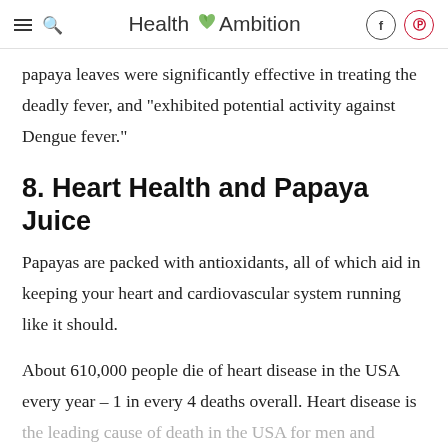Health Ambition
papaya leaves were significantly effective in treating the deadly fever, and “exhibited potential activity against Dengue fever.”
8. Heart Health and Papaya Juice
Papayas are packed with antioxidants, all of which aid in keeping your heart and cardiovascular system running like it should.
About 610,000 people die of heart disease in the USA every year – 1 in every 4 deaths overall. Heart disease is the leading cause of death in the USA for men and women. (source) Scary, huh? Well, papaya